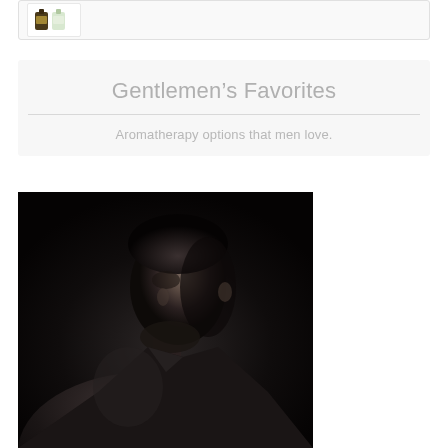[Figure (photo): Small product image thumbnail showing two bottles of aromatherapy essential oils, one dark and one light colored, inside a white bordered card]
Gentlemen's Favorites
Aromatherapy options that men love.
[Figure (photo): Black and white portrait photograph of a well-dressed man in a suit, shown in profile/three-quarter view against a dark background, with dramatic chiaroscuro lighting highlighting his facial features]